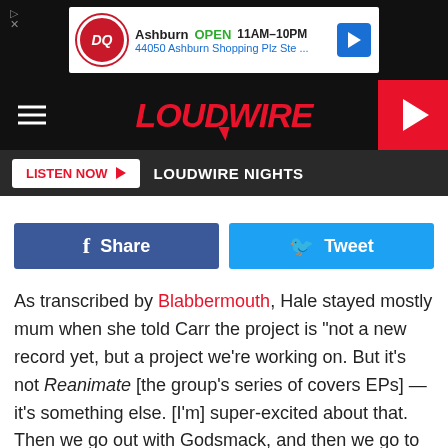[Figure (screenshot): Dairy Queen advertisement banner: Ashburn OPEN 11AM-10PM, 44050 Ashburn Shopping Plz Ste...]
LOUDWIRE
LISTEN NOW  LOUDWIRE NIGHTS
[Figure (other): Facebook Share button and Twitter Tweet button]
As transcribed by Blabbermouth, Hale stayed mostly mum when she told Carr the project is "not a new record yet, but a project we're working on. But it's not Reanimate [the group's series of covers EPs] — it's something else. [I'm] super-excited about that. Then we go out with Godsmack, and then we go to Europe with our friends In This Moment and New Years Day. We only decided to do [an all female-fronted lineup for] one tour — we're, like, 'We've never done this